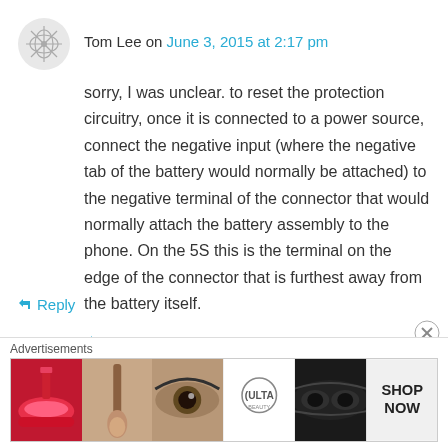Tom Lee on June 3, 2015 at 2:17 pm
sorry, I was unclear. to reset the protection circuitry, once it is connected to a power source, connect the negative input (where the negative tab of the battery would normally be attached) to the negative terminal of the connector that would normally attach the battery assembly to the phone. On the 5S this is the terminal on the edge of the connector that is furthest away from the battery itself.
★ Like
↩ Reply
Advertisements
[Figure (photo): Ulta beauty advertisement banner with makeup imagery and SHOP NOW call to action]